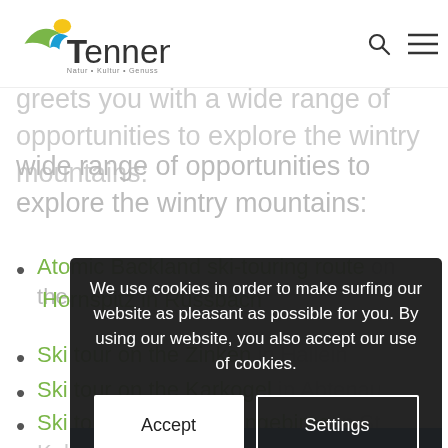Tennengau – Natur • Kultur • Genuss
opportunity to sample the fascination of skiing. Tennengau greets you with a wide range of opportunities to explore the wintry mountains:
Atomic Backland ski-touring route on the Hornspitz in Russbach
Ski tour on the Zinken in Hallein
Ski tour on the Karkogel in Abtenau
Ski tour on the Tennengebirge in St. Koloman
Ski tour … in Abtenau
We use cookies in order to make surfing our website as pleasant as possible for you. By using our website, you also accept our use of cookies.
Accept | Settings